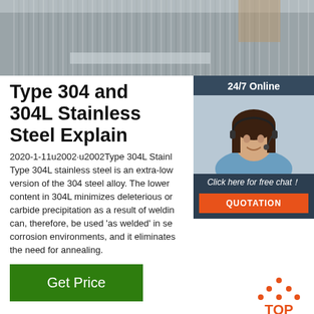[Figure (photo): Bundled stainless steel tubes or rods, metallic gray, viewed from the end showing rows of circular cross-sections]
Type 304 and 304L Stainless Steel Explain
[Figure (infographic): 24/7 Online chat widget with a woman wearing a headset, with 'Click here for free chat!' text and a QUOTATION button]
2020-1-11u2002·u2002Type 304L Stainl Type 304L stainless steel is an extra-low version of the 304 steel alloy. The lower content in 304L minimizes deleterious or carbide precipitation as a result of weldin can, therefore, be used 'as welded' in se corrosion environments, and it eliminates the need for annealing.
Get Price